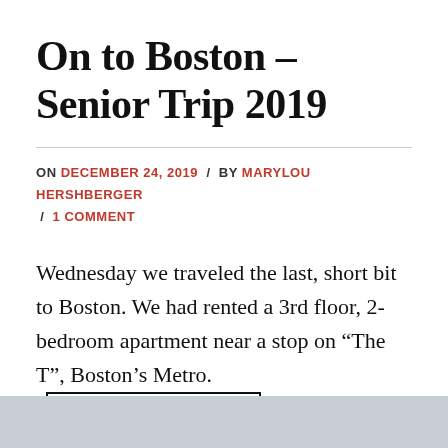On to Boston – Senior Trip 2019
ON DECEMBER 24, 2019 / BY MARYLOU HERSHBERGER / 1 COMMENT
Wednesday we traveled the last, short bit to Boston. We had rented a 3rd floor, 2-bedroom apartment near a stop on “The T”, Boston’s Metro. CONTINUE READING →